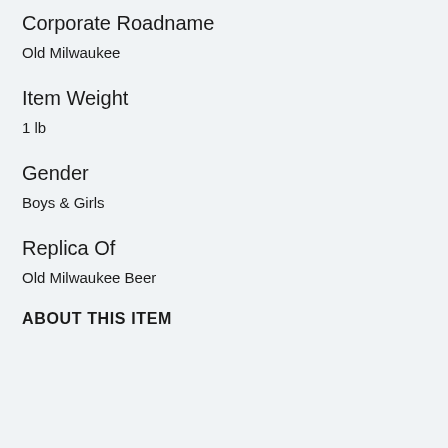Corporate Roadname
Old Milwaukee
Item Weight
1 lb
Gender
Boys & Girls
Replica Of
Old Milwaukee Beer
ABOUT THIS ITEM